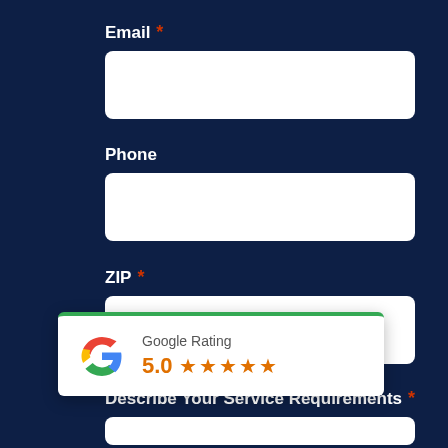Email *
Phone
ZIP *
Describe Your Service Requirements *
[Figure (infographic): Google Rating widget showing 5.0 stars with Google logo, green top border, white background]